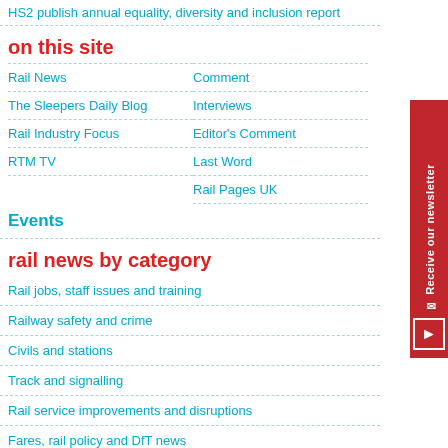HS2 publish annual equality, diversity and inclusion report
on this site
Rail News
Comment
The Sleepers Daily Blog
Interviews
Editor's Comment
Rail Industry Focus
Last Word
RTM TV
Rail Pages UK
Events
rail news by category
Rail jobs, staff issues and training
Railway safety and crime
Civils and stations
Track and signalling
Rail service improvements and disruptions
Fares, rail policy and DfT news